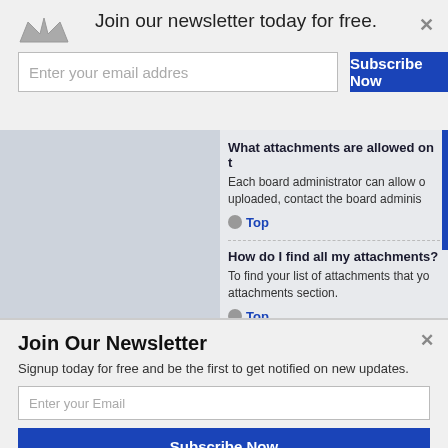Join our newsletter today for free.
Enter your email addres
Subscribe Now
What attachments are allowed on t
Each board administrator can allow o uploaded, contact the board adminis
Top
How do I find all my attachments?
To find your list of attachments that yo attachments section.
Top
Join Our Newsletter
Signup today for free and be the first to get notified on new updates.
Enter your Email
Subscribe Now